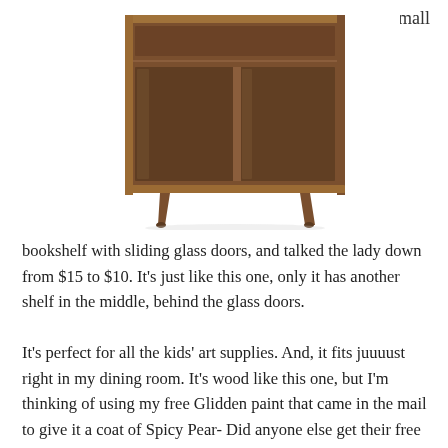small
[Figure (photo): A mid-century modern wooden bookshelf with sliding glass doors and tapered legs, shown on a white background.]
bookshelf with sliding glass doors, and talked the lady down from $15 to $10. It’s just like this one, only it has another shelf in the middle, behind the glass doors.
It’s perfect for all the kids’ art supplies. And, it fits juuuust right in my dining room. It’s wood like this one, but I’m thinking of using my free Glidden paint that came in the mail to give it a coat of Spicy Pear- Did anyone else get their free paint?